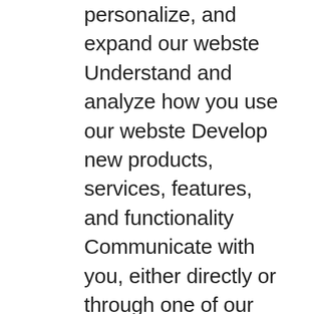personalize, and expand our webste Understand and analyze how you use our webste Develop new products, services, features, and functionality Communicate with you, either directly or through one of our partners, including for customer service, to provide you with updates and other information relating to the webste, and for marketing and promotional purposes Send you emails Find and prevent fraud Log Files https://www.douglasma.org/ follows a standard procedure of using log files. These files log visitors when they visit websites. All hosting companies do this and a part of hosting services' analytics. The information collected by log files include internet protocol (IP) addresses, browser type, Internet Service Provider (ISP), date and time stamp,